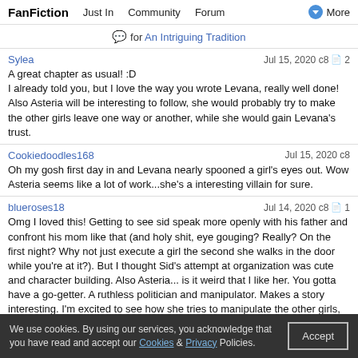FanFiction   Just In   Community   Forum   More
💬 for An Intriguing Tradition
Sylea   Jul 15, 2020 c8  2
A great chapter as usual! :D
I already told you, but I love the way you wrote Levana, really well done! Also Asteria will be interesting to follow, she would probably try to make the other girls leave one way or another, while she would gain Levana's trust.
Cookiedoodles168   Jul 15, 2020 c8
Oh my gosh first day in and Levana nearly spooned a girl's eyes out. Wow Asteria seems like a lot of work...she's a interesting villain for sure.
blueroses18   Jul 14, 2020 c8  1
Omg I loved this! Getting to see sid speak more openly with his father and confront his mom like that (and holy shit, eye gouging? Really? On the first night? Why not just execute a girl the second she walks in the door while you're at it?). But I thought Sid's attempt at organization was cute and character building. Also Asteria... is it weird that I like her. You gotta have a go-getter. A ruthless politician and manipulator. Makes a story interesting. I'm excited to see how she tries to manipulate the other girls, Sid, and if Levana falls for it.
Great chapter! I'll fill out the rest of the forms questions tn!
fata orphei   Jul 13, 2020 c8  2
oh daaaaaang the queen had a full freak out over a
We use cookies. By using our services, you acknowledge that you have read and accept our Cookies & Privacy Policies.